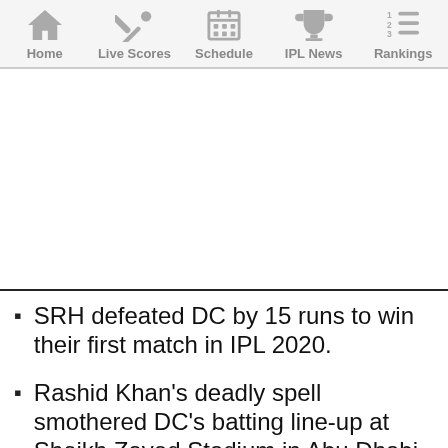Home | Live Scores | Schedule | IPL News | Rankings
[Figure (other): Empty white advertisement or banner area]
SRH defeated DC by 15 runs to win their first match in IPL 2020.
Rashid Khan's deadly spell smothered DC's batting line-up at Sheikh Zayed Stadium in Abu Dhabi.